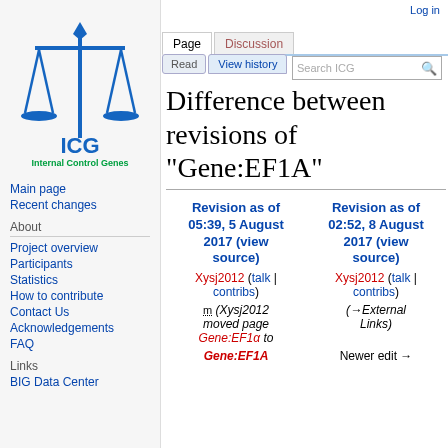[Figure (logo): ICG balance scales logo in blue with 'ICG' text and 'Internal Control Genes' subtitle in green]
Main page
Recent changes
About
Project overview
Participants
Statistics
How to contribute
Contact Us
Acknowledgements
FAQ
Links
BIG Data Center
Log in
Difference between revisions of "Gene:EF1A"
| Revision as of 05:39, 5 August 2017 (view source) | Revision as of 02:52, 8 August 2017 (view source) |
| --- | --- |
| Xysj2012 (talk | contribs) | Xysj2012 (talk | contribs) |
| m (Xysj2012 moved page Gene:EF1α to | (→External Links) |
| Gene:EF1A | Newer edit → |